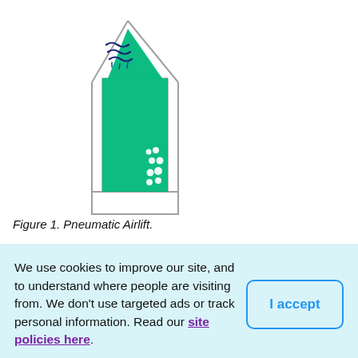[Figure (schematic): Technical diagram of a Pneumatic Airlift device showing a triangular/funnel-shaped tank with green water fill, dark blue wavy lines at the top indicating water surface, white bubbles near the bottom-right, and a rectangular base outlet. The structure is outlined in gray.]
Figure 1. Pneumatic Airlift.
We use cookies to improve our site, and to understand where people are visiting from. We don't use targeted ads or track personal information. Read our site policies here.